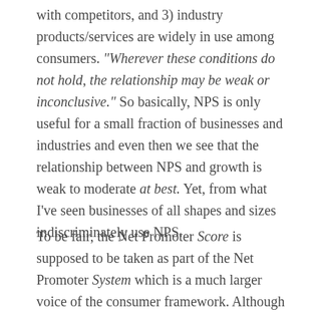with competitors, and 3) industry products/services are widely in use among consumers. "Wherever these conditions do not hold, the relationship may be weak or inconclusive." So basically, NPS is only useful for a small fraction of businesses and industries and even then we see that the relationship between NPS and growth is weak to moderate at best. Yet, from what I've seen businesses of all shapes and sizes indiscriminately use NPS.
To be fair, the Net Promoter Score is supposed to be taken as part of the Net Promoter System which is a much larger voice of the consumer framework. Although it doesn't alleviate any of